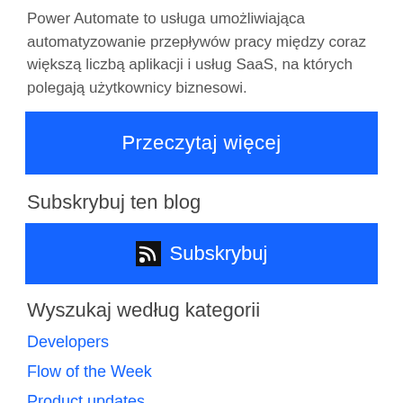Power Automate to usługa umożliwiająca automatyzowanie przepływów pracy między coraz większą liczbą aplikacji i usług SaaS, na których polegają użytkownicy biznesowi.
[Figure (other): Blue button with white text: Przeczytaj więcej]
Subskrybuj ten blog
[Figure (other): Blue button with RSS icon and white text: Subskrybuj]
Wyszukaj według kategorii
Developers
Flow of the Week
Product updates
Stories